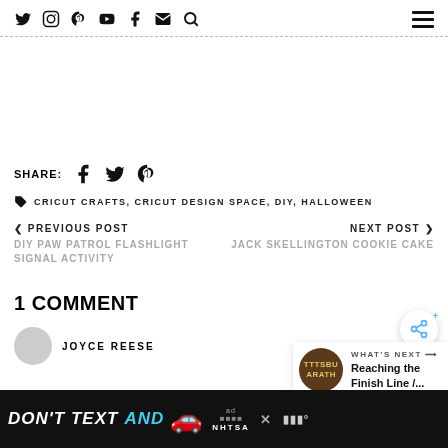Social icons: Twitter, Instagram, Pinterest, YouTube, Facebook, Mail, Search; Hamburger menu
SHARE: Facebook, Twitter, Pinterest
CRICUT CRAFTS, CRICUT DESIGN SPACE, DIY, HALLOWEEN
< PREVIOUS POST
DIY PAW PATROL FLASHLIGHT SIGNAL ACTIVITY
NEXT POST >
JACK SKELLINGTON COOKIE CAKE
1 COMMENT
JOYCE REESE
[Figure (infographic): Ad banner: DON'T TEXT AND [car emoji] with NHTSA branding]
[Figure (infographic): What's Next widget: TTSBURG ARATH thumbnail, 'WHAT'S NEXT —> Reaching the Finish Line /...']